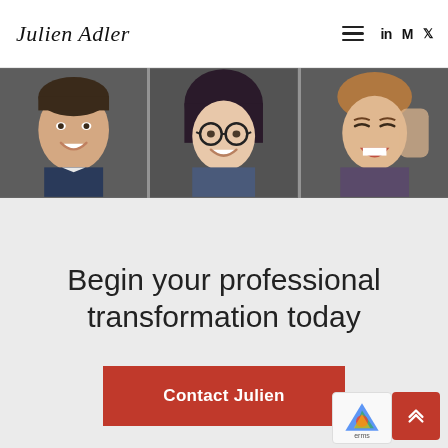Julien Adler
[Figure (photo): Strip of three smiling people's faces on a dark/grey background: a young man on the left, a woman with glasses and dark hair in the middle, and a laughing woman on the right.]
Begin your professional transformation today
Contact Julien
[Figure (other): Back-to-top arrow button (red square with double upward chevron) and a reCAPTCHA badge partially visible in the bottom right corner.]